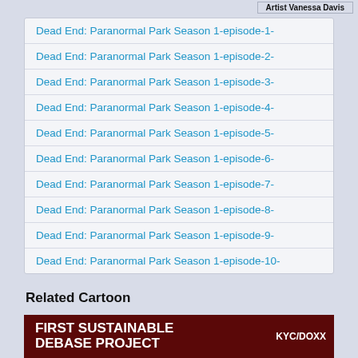Artist Vanessa Davis
Dead End: Paranormal Park Season 1-episode-1-
Dead End: Paranormal Park Season 1-episode-2-
Dead End: Paranormal Park Season 1-episode-3-
Dead End: Paranormal Park Season 1-episode-4-
Dead End: Paranormal Park Season 1-episode-5-
Dead End: Paranormal Park Season 1-episode-6-
Dead End: Paranormal Park Season 1-episode-7-
Dead End: Paranormal Park Season 1-episode-8-
Dead End: Paranormal Park Season 1-episode-9-
Dead End: Paranormal Park Season 1-episode-10-
Related Cartoon
[Figure (screenshot): Dark red banner with white bold text reading FIRST SUSTAINABLE DEBASE PROJECT and KYC/DOXX badge on right]